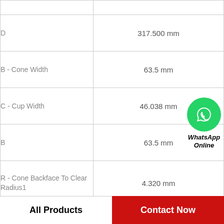| Parameter | Value |
| --- | --- |
|  |  |
| D | 317.500 mm |
| B - Cone Width | 63.5 mm |
| C - Cup Width | 46.038 mm |
| B | 63.5 mm |
| R - Cone Backface To Clear Radius1 | 4.320 mm |
| r - Cup Backface To Clear Radius2 | 3.30 mm |
| da - Cone Frontface Backing Diameter | 222 mm |
[Figure (logo): WhatsApp Online button with green circle phone icon and bold italic text 'WhatsApp Online']
All Products
Contact Now